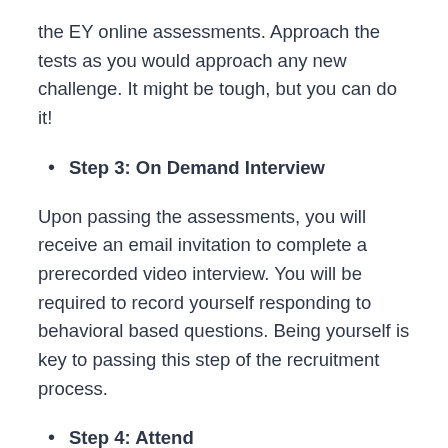the EY online assessments. Approach the tests as you would approach any new challenge. It might be tough, but you can do it!
Step 3: On Demand Interview
Upon passing the assessments, you will receive an email invitation to complete a prerecorded video interview. You will be required to record yourself responding to behavioral based questions. Being yourself is key to passing this step of the recruitment process.
Step 4: Attend
Once you have been shortlisted, you may be